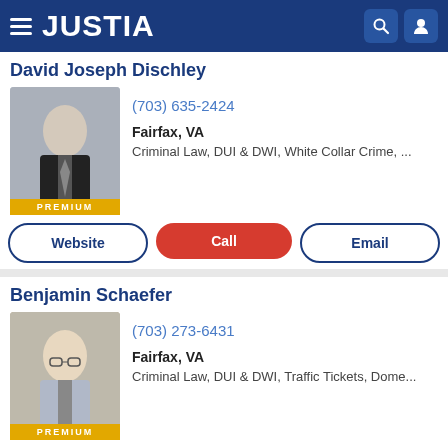JUSTIA
David Joseph Dischley
(703) 635-2424
Fairfax, VA
Criminal Law, DUI & DWI, White Collar Crime, ...
Website
Call
Email
Benjamin Schaefer
(703) 273-6431
Fairfax, VA
Criminal Law, DUI & DWI, Traffic Tickets, Dome...
Website
Call
Email